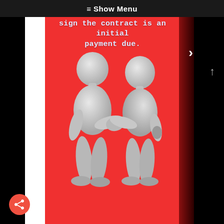≡ Show Menu
sign the contract is an initial payment due.
[Figure (illustration): Two grey 3D rendered figurines shaking hands on a red background, representing a contract signing handshake]